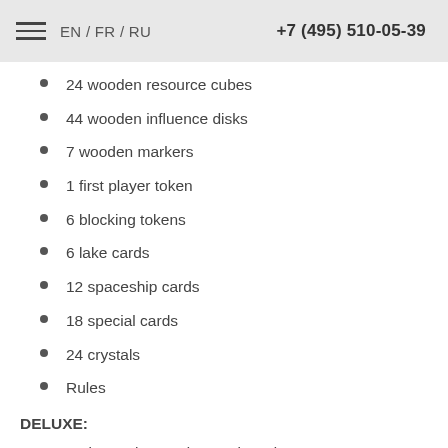EN / FR / RU  +7 (495) 510-05-39
24 wooden resource cubes
44 wooden influence disks
7 wooden markers
1 first player token
6 blocking tokens
6 lake cards
12 spaceship cards
18 special cards
24 crystals
Rules
DELUXE:
+ UV coating on box and game board
+ Custom resource tokens